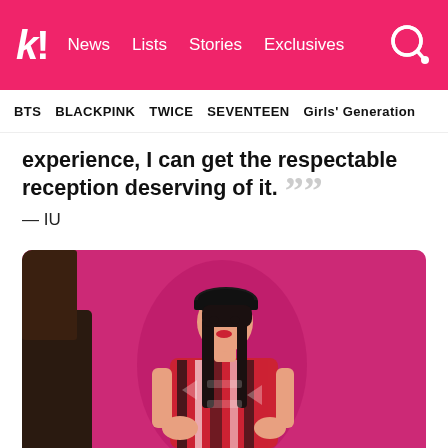k! News Lists Stories Exclusives
BTS BLACKPINK TWICE SEVENTEEN Girls' Generation
experience, I can get the respectable reception deserving of it. ””
— IU
[Figure (photo): Photo of IU (Korean singer) posing against a magenta/hot pink background, wearing a black beret and a colorful patterned outfit with red, black, and white stripes/geometric patterns.]